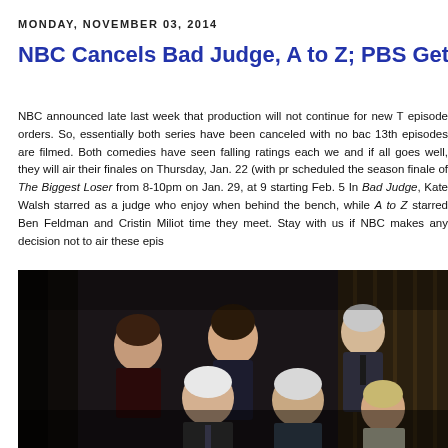MONDAY, NOVEMBER 03, 2014
NBC Cancels Bad Judge, A to Z; PBS Gets Vicious in S
NBC announced late last week that production will not continue for new T... episode orders. So, essentially both series have been canceled with no bac... 13th episodes are filmed. Both comedies have seen falling ratings each we... and if all goes well, they will air their finales on Thursday, Jan. 22 (with pr... scheduled the season finale of The Biggest Loser from 8-10pm on Jan. 29, ... at 9 starting Feb. 5 In Bad Judge, Kate Walsh starred as a judge who enjoy... when behind the bench, while A to Z starred Ben Feldman and Cristin Miliot... time they meet. Stay with us if NBC makes any decision not to air these epis...
[Figure (photo): Group photo of cast members in formal attire in a dark setting, featuring several older actors and one younger male actor in the center background.]